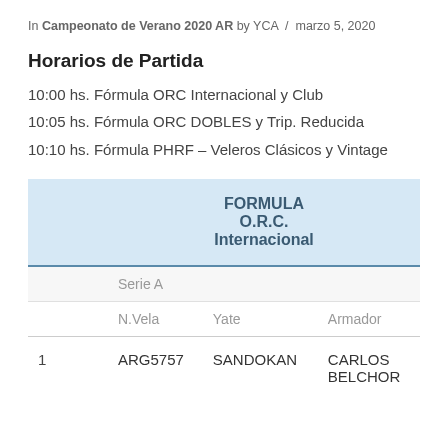In Campeonato de Verano 2020 AR by YCA / marzo 5, 2020
Horarios de Partida
10:00 hs. Fórmula ORC Internacional y Club
10:05 hs. Fórmula ORC DOBLES y Trip. Reducida
10:10 hs. Fórmula PHRF – Veleros Clásicos y Vintage
|  | FORMULA O.R.C. Internacional |
| --- | --- |
|  | Serie A |  |  |
|  | N.Vela | Yate | Armador |
| 1 | ARG5757 | SANDOKAN | CARLOS BELCHOR |